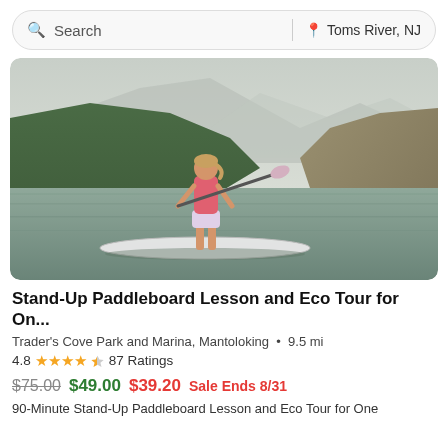Search | Toms River, NJ
[Figure (photo): Woman standing on a stand-up paddleboard on a calm mountain lake, holding a paddle, wearing a pink top and shorts. Green hills and misty mountains in the background.]
Stand-Up Paddleboard Lesson and Eco Tour for On...
Trader's Cove Park and Marina, Mantoloking • 9.5 mi
4.8 ★★★★½ 87 Ratings
$75.00 $49.00 $39.20 Sale Ends 8/31
90-Minute Stand-Up Paddleboard Lesson and Eco Tour for One